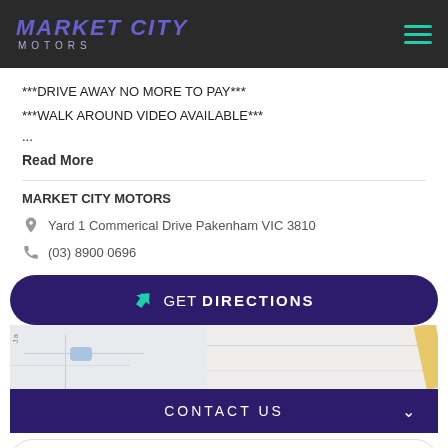MARKET CITY MOTORS
***DRIVE AWAY NO MORE TO PAY***
***WALK AROUND VIDEO AVAILABLE***
...
Read More
MARKET CITY MOTORS
Yard 1 Commerical Drive Pakenham VIC 3810
(03) 8900 0696
GET DIRECTIONS
[Figure (map): Street map snippet showing roads near Pakenham VIC area with a blue shape and yellow road visible]
CONTACT US
FINANCE THIS VEHICLE